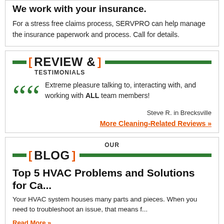We work with your insurance.
For a stress free claims process, SERVPRO can help manage the insurance paperwork and process. Call for details.
REVIEW & TESTIMONIALS
Extreme pleasure talking to, interacting with, and working with ALL team members!
Steve R. in Brecksville
More Cleaning-Related Reviews »
OUR BLOG
Top 5 HVAC Problems and Solutions for Ca...
Your HVAC system houses many parts and pieces. When you need to troubleshoot an issue, that means f...
Read More »